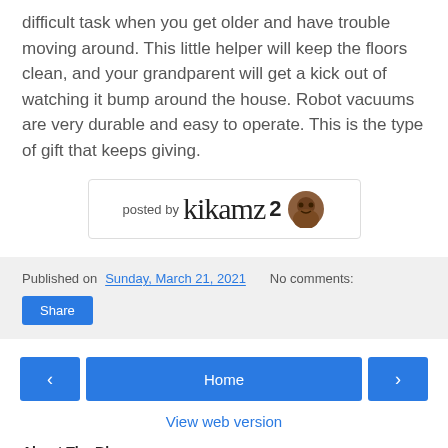difficult task when you get older and have trouble moving around. This little helper will keep the floors clean, and your grandparent will get a kick out of watching it bump around the house. Robot vacuums are very durable and easy to operate. This is the type of gift that keeps giving.
[Figure (other): Posted by username badge showing 'posted by kikamz2' with handwritten-style text and a small avatar icon]
Published on Sunday, March 21, 2021   No comments:
Share
< Home >
View web version
About The Blogger
kamz